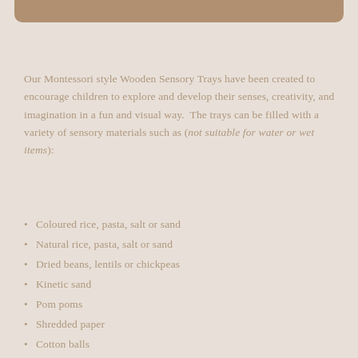Our Montessori style Wooden Sensory Trays have been created to encourage children to explore and develop their senses, creativity, and imagination in a fun and visual way.  The trays can be filled with a variety of sensory materials such as (not suitable for water or wet items):
Coloured rice, pasta, salt or sand
Natural rice, pasta, salt or sand
Dried beans, lentils or chickpeas
Kinetic sand
Pom poms
Shredded paper
Cotton balls
Bird seed